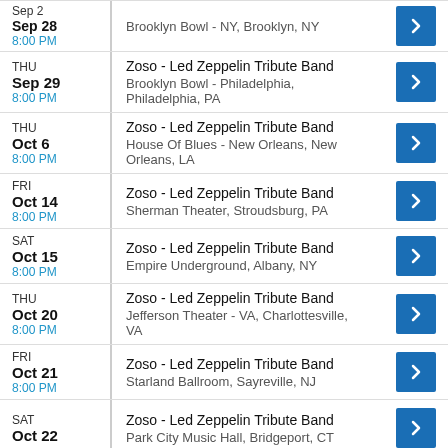THU Sep 28 8:00 PM | Zoso - Led Zeppelin Tribute Band | Brooklyn Bowl - NY, Brooklyn, NY
THU Sep 29 8:00 PM | Zoso - Led Zeppelin Tribute Band | Brooklyn Bowl - Philadelphia, Philadelphia, PA
THU Oct 6 8:00 PM | Zoso - Led Zeppelin Tribute Band | House Of Blues - New Orleans, New Orleans, LA
FRI Oct 14 8:00 PM | Zoso - Led Zeppelin Tribute Band | Sherman Theater, Stroudsburg, PA
SAT Oct 15 8:00 PM | Zoso - Led Zeppelin Tribute Band | Empire Underground, Albany, NY
THU Oct 20 8:00 PM | Zoso - Led Zeppelin Tribute Band | Jefferson Theater - VA, Charlottesville, VA
FRI Oct 21 8:00 PM | Zoso - Led Zeppelin Tribute Band | Starland Ballroom, Sayreville, NJ
SAT Oct 22 | Zoso - Led Zeppelin Tribute Band | Park City Music Hall, Bridgeport, CT